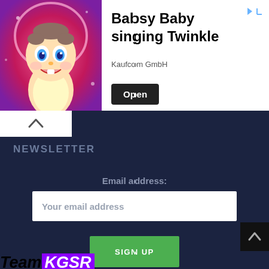[Figure (screenshot): Advertisement banner for 'Babsy Baby singing Twinkle' app by Kaufcom GmbH, featuring an animated baby character on a pink background, with an Open button and arrow icons.]
NEWSLETTER
Email address:
Your email address
SIGN UP
[Figure (logo): TeamKGSR logo with 'Team' in bold italic black and 'KGSR' on purple background, with purple underline]